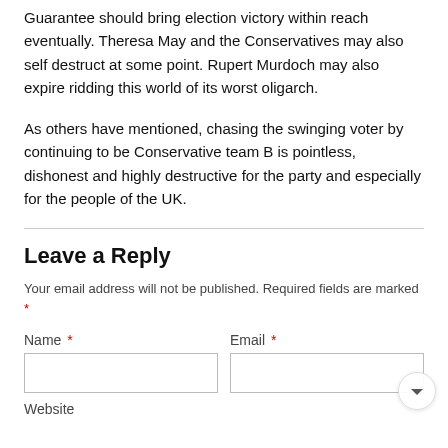Guarantee should bring election victory within reach eventually. Theresa May and the Conservatives may also self destruct at some point. Rupert Murdoch may also expire ridding this world of its worst oligarch.
As others have mentioned, chasing the swinging voter by continuing to be Conservative team B is pointless, dishonest and highly destructive for the party and especially for the people of the UK.
Leave a Reply
Your email address will not be published. Required fields are marked *
Name *
Email *
Website